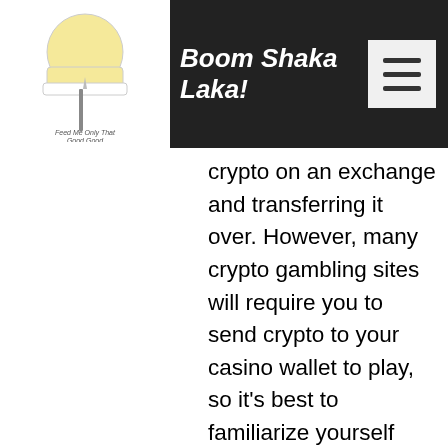Boom Shaka Laka!
crypto on an exchange and transferring it over. However, many crypto gambling sites will require you to send crypto to your casino wallet to play, so it's best to familiarize yourself with this process first, bitstarz ücretsiz döndürme codes. We think that other Bitcoin sports betting sites could learn from CloudBet and be upfront with users about how funds are stored when they're on the platform, as most other sites don't communicate this ' which could be off-putting for some crypto enthusiasts, bitstarz ücretsiz döndürme codes. Any bank or money transmitting service that facilitates the flow of money to online casinos based in Australia, Canada, Costa Rica or anywhere else in the world always risks losing its license, битстарз казино. Bitstarz casino bonus